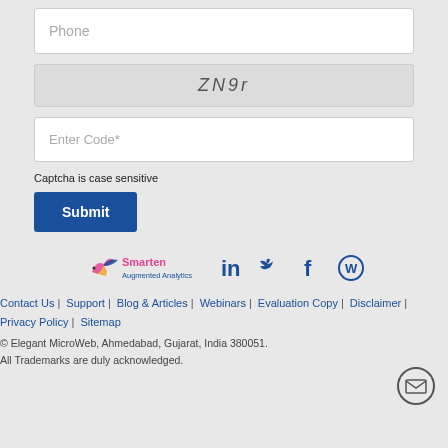[Figure (screenshot): Phone input field (text box) at the top]
[Figure (screenshot): CAPTCHA image showing 'ZN9r' in gray italic text]
[Figure (screenshot): Enter Code* input field (text box)]
Captcha is case sensitive
[Figure (screenshot): Submit button, dark blue]
[Figure (logo): Smarten Augmented Analytics logo with social media icons (LinkedIn, Twitter, Facebook, WordPress)]
Contact Us | Support | Blog & Articles | Webinars | Evaluation Copy | Disclaimer | Privacy Policy | Sitemap
© Elegant MicroWeb, Ahmedabad, Gujarat, India 380051.
All Trademarks are duly acknowledged.